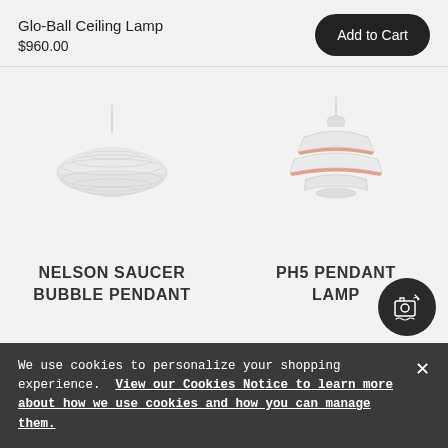Glo-Ball Ceiling Lamp
$960.00
[Figure (illustration): Nelson Saucer Bubble Pendant lamp - white ribbed saucer-shaped pendant lamp on a white cord]
NELSON SAUCER BUBBLE PENDANT
[Figure (illustration): PH5 Pendant Lamp - white multi-layered pendant lamp with pink accent ring on a white cord]
PH5 PENDANT LAMP
We use cookies to personalize your shopping experience. View our Cookies Notice to learn more about how we use cookies and how you can manage them.